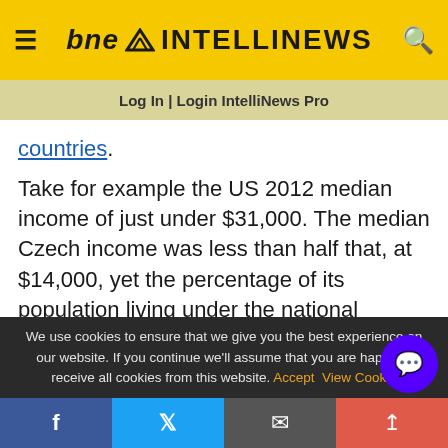bne INTELLINEWS — Log In | Login IntelliNews Pro
countries.
Take for example the US 2012 median income of just under $31,000. The median Czech income was less than half that, at $14,000, yet the percentage of its population living under the national poverty line was only 8.6% in 2013.
Data released in November showed that nearly one
We use cookies to ensure that we give you the best experience on our website. If you continue we'll assume that you are happy to receive all cookies from this website. Accept  View Cookie